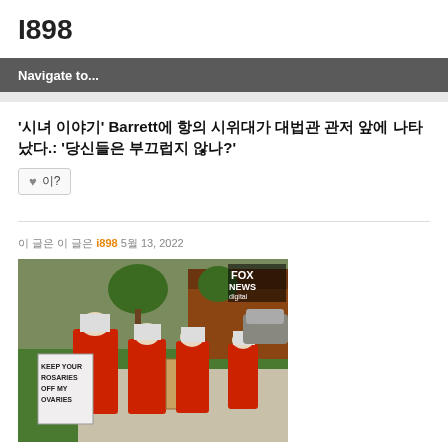I898
Navigate to...
'시녀 이야기' Barrett에 항의 시위대가 대법관 관저 앞에 나타났다.: '당신들은 부끄럽지 않나?'
이?
이 글은 i898 5월 13, 2022
[Figure (photo): Protesters dressed in red handmaid costumes with white bonnets and face masks walking on a sidewalk, carrying protest signs including one reading 'KEEP YOUR ROSARIES OFF MY OVARIES'. Fox News digital watermark visible in upper right corner.]
이다 이다이다 이다 이다 이다이다이다 이다이다 이다 이다이다 이다 이다이다이다이다 이다 이 이다이다 이다이다이다이다 이다이다이다 이다